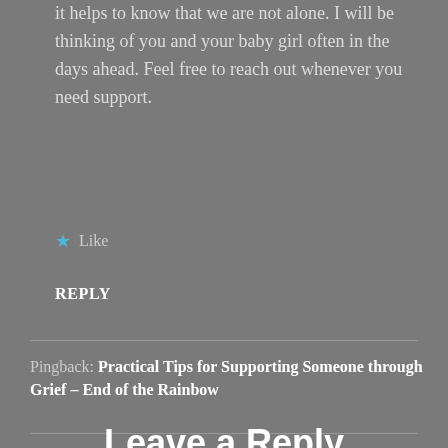it helps to know that we are not alone. I will be thinking of you and your baby girl often in the days ahead. Feel free to reach out whenever you need support.
★ Like
REPLY
Pingback: Practical Tips for Supporting Someone through Grief – End of the Rainbow
Leave a Reply
Your email address will not be published. Required